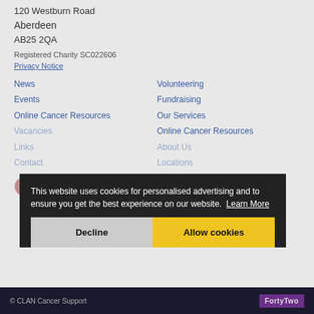120 Westburn Road
Aberdeen
AB25 2QA
Registered Charity SC022606
Privacy Notice
News
Events
Online Cancer Resources
Vacancies
Links
Contact
Volunteering
Fundraising
Our Services
Online Cancer Resources
About Us
Locations
This website uses cookies for personalised advertising and to ensure you get the best experience on our website. Learn More
Decline
Allow cookies
© CLAN Cancer Support   FortyTwo